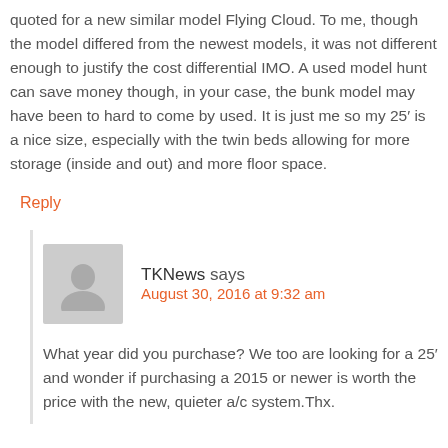quoted for a new similar model Flying Cloud. To me, though the model differed from the newest models, it was not different enough to justify the cost differential IMO. A used model hunt can save money though, in your case, the bunk model may have been to hard to come by used. It is just me so my 25′ is a nice size, especially with the twin beds allowing for more storage (inside and out) and more floor space.
Reply
TKNews says
August 30, 2016 at 9:32 am
What year did you purchase? We too are looking for a 25′ and wonder if purchasing a 2015 or newer is worth the price with the new, quieter a/c system.Thx.